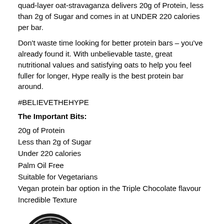quad-layer oat-stravaganza delivers 20g of Protein, less than 2g of Sugar and comes in at UNDER 220 calories per bar.
Don't waste time looking for better protein bars – you've already found it. With unbelievable taste, great nutritional values and satisfying oats to help you feel fuller for longer, Hype really is the best protein bar around.
#BELIEVETHEHYPE
The Important Bits:
20g of Protein
Less than 2g of Sugar
Under 220 calories
Palm Oil Free
Suitable for Vegetarians
Vegan protein bar option in the Triple Chocolate flavour
Incredible Texture
[Figure (illustration): A black circular badge/seal icon with a checkmark ribbon award symbol inside]